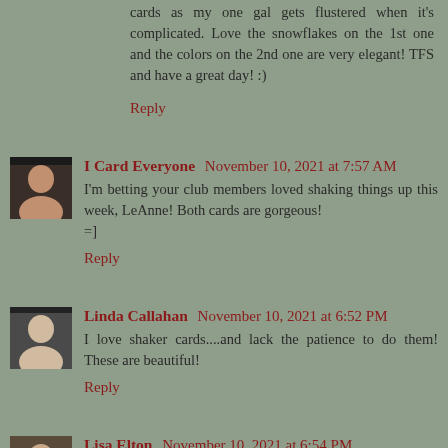cards as my one gal gets flustered when it's complicated. Love the snowflakes on the 1st one and the colors on the 2nd one are very elegant! TFS and have a great day! :)
Reply
I Card Everyone  November 10, 2021 at 7:57 AM
I'm betting your club members loved shaking things up this week, LeAnne! Both cards are gorgeous!
=]
Reply
Linda Callahan  November 10, 2021 at 6:52 PM
I love shaker cards....and lack the patience to do them! These are beautiful!
Reply
Lisa Elton  November 10, 2021 at 6:54 PM